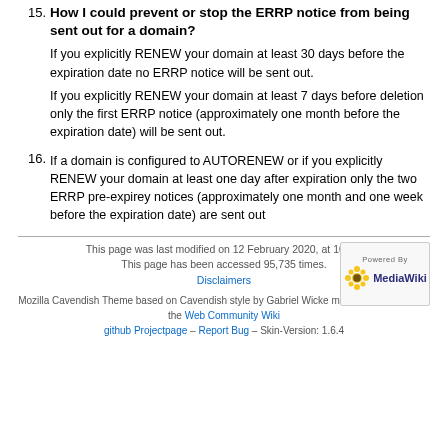15. How I could prevent or stop the ERRP notice from being sent out for a domain? If you explicitly RENEW your domain at least 30 days before the expiration date no ERRP notice will be sent out. If you explicitly RENEW your domain at least 7 days before deletion only the first ERRP notice (approximately one month before the expiration date) will be sent out.
16. If a domain is configured to AUTORENEW or if you explicitly RENEW your domain at least one day after expiration only the two ERRP pre-expirey notices (approximately one month and one week before the expiration date) are sent out
This page was last modified on 12 February 2020, at 10:14. This page has been accessed 95,735 times. Disclaimers Mozilla Cavendish Theme based on Cavendish style by Gabriel Wicke modified by DaSch for the Web Community Wiki github Projectpage – Report Bug – Skin-Version: 1.6.4